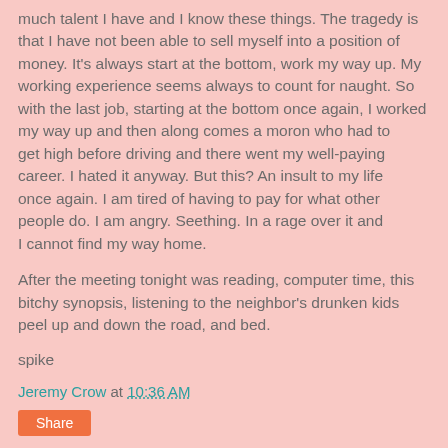much talent I have and I know these things. The tragedy is that I have not been able to sell myself into a position of money. It's always start at the bottom, work my way up. My working experience seems always to count for naught. So with the last job, starting at the bottom once again, I worked my way up and then along comes a moron who had to
get high before driving and there went my well-paying career. I hated it anyway. But this? An insult to my life
once again. I am tired of having to pay for what other people do. I am angry. Seething. In a rage over it and
I cannot find my way home.
After the meeting tonight was reading, computer time, this bitchy synopsis, listening to the neighbor's drunken kids peel up and down the road, and bed.
spike
Jeremy Crow at 10:36 AM
Share